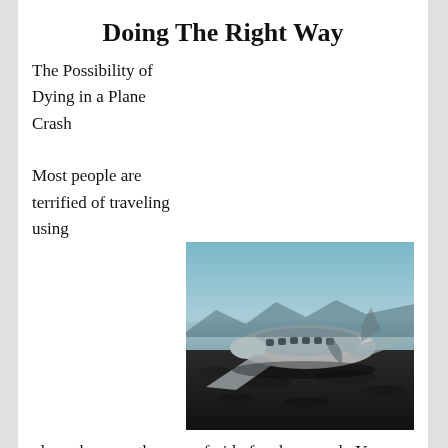Doing The Right Way
The Possibility of Dying in a Plane Crash
[Figure (photo): A crashed airplane wreckage on a dark rocky landscape with a hazy blue sky in the background.]
Most people are terrified of traveling using planes because they are afraid of a plane crash. You cannot shake off fear when you are about to travel using a flight and you have heard of cases where people died before. It is important to be keen on the odds of dying in a plane crash so you can take the right step. It is important to focus on it so you can get rid of the fear you have developed. You will handle your fear when you face it and get to know